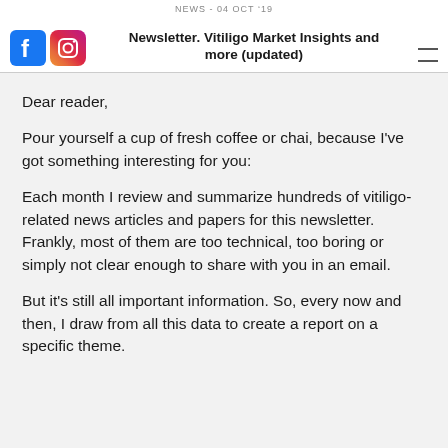NEWS - 04 OCT '19
Newsletter. Vitiligo Market Insights and more (updated)
Dear reader,
Pour yourself a cup of fresh coffee or chai, because I've got something interesting for you:
Each month I review and summarize hundreds of vitiligo-related news articles and papers for this newsletter. Frankly, most of them are too technical, too boring or simply not clear enough to share with you in an email.
But it's still all important information. So, every now and then, I draw from all this data to create a report on a specific theme.